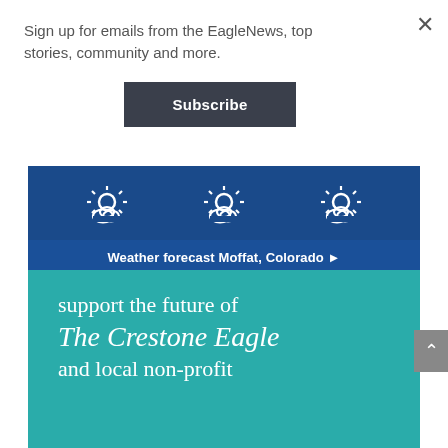Sign up for emails from the EagleNews, top stories, community and more.
Subscribe
[Figure (infographic): Weather forecast widget for Moffat, Colorado on a dark blue background showing three partly-cloudy sun weather icons and a footer bar reading 'Weather forecast Moffat, Colorado ►']
support the future of The Crestone Eagle and local non-profit